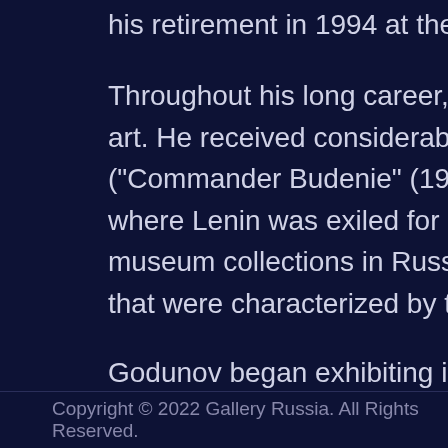his retirement in 1994 at the age
Throughout his long career, God art. He received considerable att ("Commander Budenie" (1964)) a where Lenin was exiled for more museum collections in Russia an that were characterized by thick i
Godunov began exhibiting in 195 member of the Ukrainian Artists' paintings are in various museum throughout the world.
Godunov is listed on page 99 of Painters.
Copyright © 2022 Gallery Russia. All Rights Reserved.